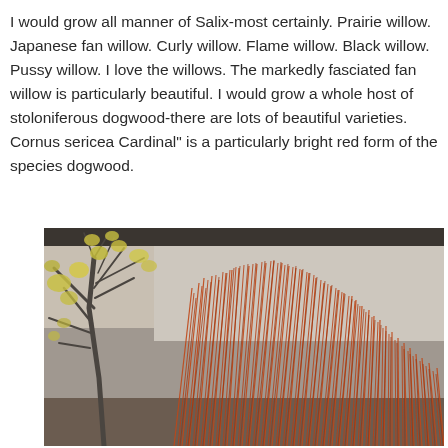I would grow all manner of Salix-most certainly. Prairie willow. Japanese fan willow. Curly willow. Flame willow. Black willow. Pussy willow. I love the willows. The markedly fasciated fan willow is particularly beautiful. I would grow a whole host of stoloniferous dogwood-there are lots of beautiful varieties. Cornus sericea Cardinal" is a particularly bright red form of the species dogwood.
[Figure (photo): Photograph of a red-stemmed dogwood shrub (Cornus sericea Cardinal) with bright orange-red upright stems in the foreground, and a tree with yellow autumn leaves to the left against a grey building background.]